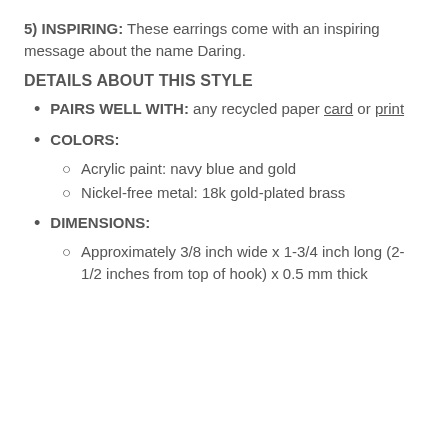5) INSPIRING: These earrings come with an inspiring message about the name Daring.
DETAILS ABOUT THIS STYLE
PAIRS WELL WITH: any recycled paper card or print
COLORS:
Acrylic paint: navy blue and gold
Nickel-free metal: 18k gold-plated brass
DIMENSIONS:
Approximately 3/8 inch wide x 1-3/4 inch long (2-1/2 inches from top of hook) x 0.5 mm thick